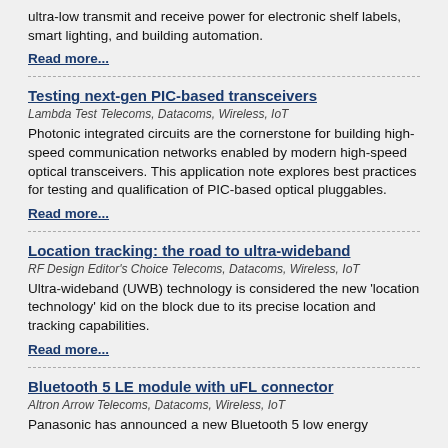ultra-low transmit and receive power for electronic shelf labels, smart lighting, and building automation.
Read more...
Testing next-gen PIC-based transceivers
Lambda Test Telecoms, Datacoms, Wireless, IoT
Photonic integrated circuits are the cornerstone for building high-speed communication networks enabled by modern high-speed optical transceivers. This application note explores best practices for testing and qualification of PIC-based optical pluggables.
Read more...
Location tracking: the road to ultra-wideband
RF Design Editor's Choice Telecoms, Datacoms, Wireless, IoT
Ultra-wideband (UWB) technology is considered the new 'location technology' kid on the block due to its precise location and tracking capabilities.
Read more...
Bluetooth 5 LE module with uFL connector
Altron Arrow Telecoms, Datacoms, Wireless, IoT
Panasonic has announced a new Bluetooth 5 low energy